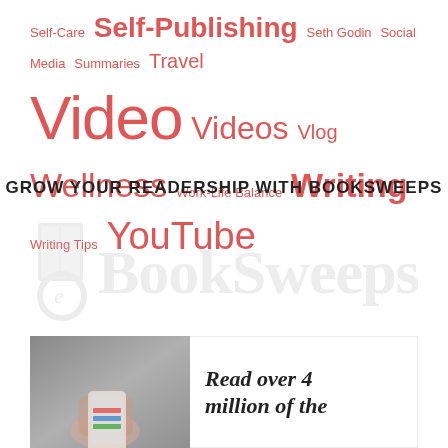Self-Care Self-Publishing Seth Godin Social Media Summaries Travel Video Videos Vlog Wellness Work-Life Balance Writing Writing Tips YouTube
GROW YOUR READERSHIP WITH BOOKSWEEPS
[Figure (logo): BookSweeps logo with book icon and stylized text in light gray watermark style]
[Figure (photo): Person holding a mobile phone, gray fabric background]
Read over 4 million of the